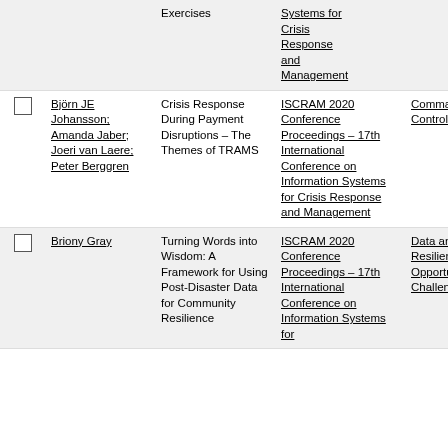|  | Author | Title | Source | Topic | Year |
| --- | --- | --- | --- | --- | --- |
|  |  | Exercises | Systems for Crisis Response and Management |  |  |
| ☐ | Björn JE Johansson; Amanda Jaber; Joeri van Laere; Peter Berggren | Crisis Response During Payment Disruptions – The Themes of TRAMS | ISCRAM 2020 Conference Proceedings – 17th International Conference on Information Systems for Crisis Response and Management | Command & Control Studies | 2 |
| ☐ | Briony Gray | Turning Words into Wisdom: A Framework for Using Post-Disaster Data for Community Resilience | ISCRAM 2020 Conference Proceedings – 17th International Conference on Information Systems for | Data and Resilience: Opportunities and Challenges | 2 |